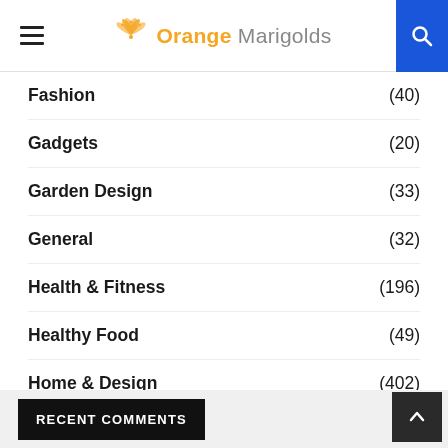Orange Marigolds
Fashion (40)
Gadgets (20)
Garden Design (33)
General (32)
Health & Fitness (196)
Healthy Food (49)
Home & Design (402)
Lifestyle (334)
Pets (17)
Travel (81)
RECENT COMMENTS